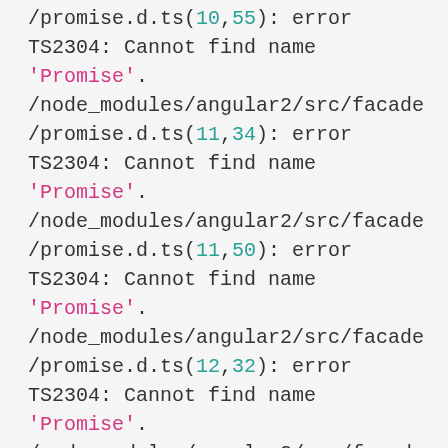/promise.d.ts(10,55): error TS2304: Cannot find name 'Promise'. /node_modules/angular2/src/facade/promise.d.ts(11,34): error TS2304: Cannot find name 'Promise'. /node_modules/angular2/src/facade/promise.d.ts(11,50): error TS2304: Cannot find name 'Promise'. /node_modules/angular2/src/facade/promise.d.ts(12,32): error TS2304: Cannot find name 'Promise'. /node_modules/angular2/src/facade/promise.d.ts(12,149): error TS2304: Cannot find name 'Promise'. /node_modules/angular2/src/facade/promise.d.ts(13,43): error